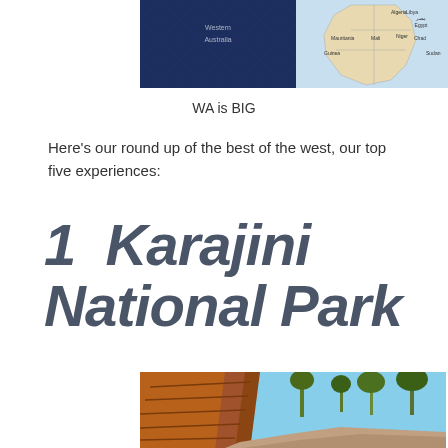[Figure (photo): Two images side by side: left is a dark navy blue fabric/textile, right is a map of Africa showing countries like Algeria, Libya, Egypt, Mauritania, Mali, Niger, Chad, Sudan]
WA is BIG
Here's our round up of the best of the west, our top five experiences:
1  Karajini National Park
[Figure (photo): Photograph of Karajini National Park showing red rock gorge walls on the left and green trees/vegetation with a blue sky on the right, with a rocky creek bed in the foreground]